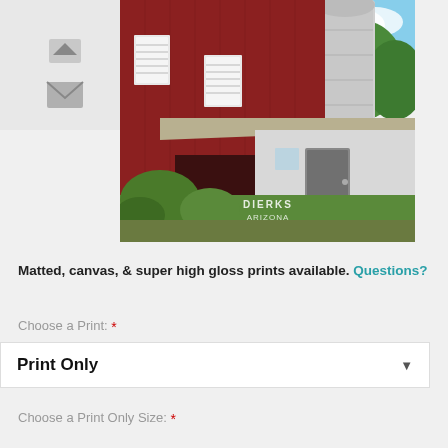[Figure (photo): Photograph of a red barn with white trim, grain silo, and green summer foliage. Watermark text reads 'DIERKS ARIZONA'.]
Matted, canvas, & super high gloss prints available. Questions?
Choose a Print: *
Print Only
Choose a Print Only Size: *